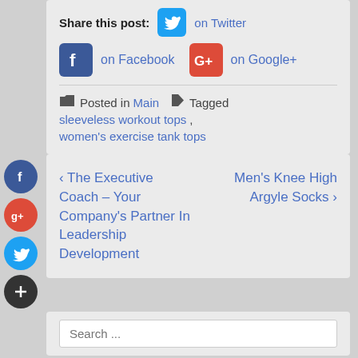Share this post: on Twitter on Facebook on Google+
Posted in Main  Tagged sleeveless workout tops, women's exercise tank tops
< The Executive Coach – Your Company's Partner In Leadership Development    Men's Knee High Argyle Socks >
Search ...